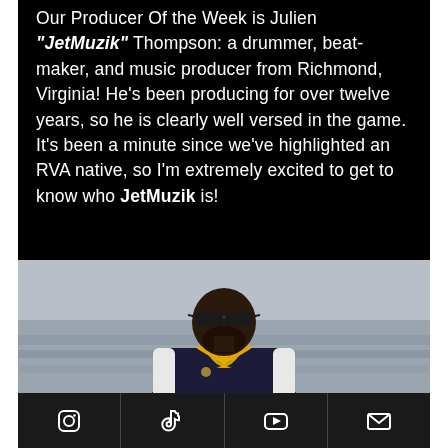Our Producer Of the Week is Julien "JetMuzik" Thompson: a drummer, beat-maker, and music producer from Richmond, Virginia! He's been producing for over twelve years, so he is clearly well versed in the game. It's been a minute since we've highlighted an RVA native, so I'm extremely excited to get to know who JetMuzik is!
[Figure (photo): A man wearing sunglasses and a black and white varsity/letterman jacket with a yellow hoodie underneath and gold chain necklace, standing outdoors near water with a grey sky background.]
Social media icons: Instagram, TikTok, YouTube, Email